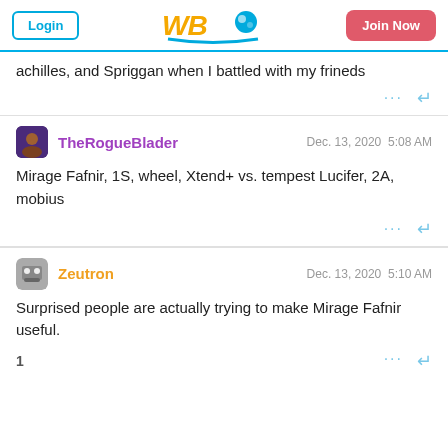Login | WBO Logo | Join Now
achilles, and Spriggan when I battled with my frineds
TheRogueBlader  Dec. 13, 2020  5:08 AM
Mirage Fafnir, 1S, wheel, Xtend+ vs. tempest Lucifer, 2A, mobius
Zeutron  Dec. 13, 2020  5:10 AM
Surprised people are actually trying to make Mirage Fafnir useful.